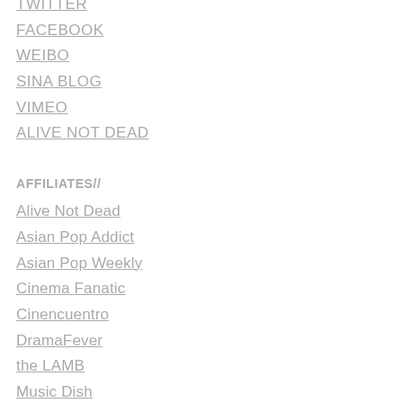TWITTER
FACEBOOK
WEIBO
SINA BLOG
VIMEO
ALIVE NOT DEAD
AFFILIATES//
Alive Not Dead
Asian Pop Addict
Asian Pop Weekly
Cinema Fanatic
Cinencuentro
DramaFever
the LAMB
Music Dish
Rock 'N Seoul
VCinema